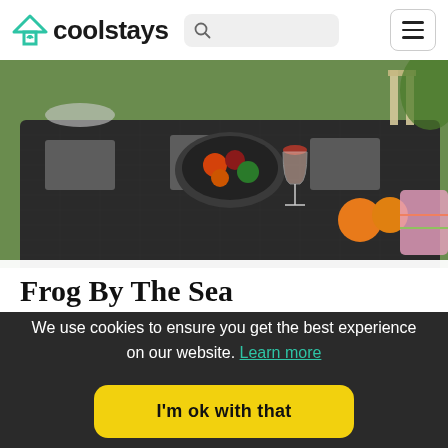coolstays
[Figure (photo): Outdoor patio dining table with food, drinks, wine glasses and fruit, with garden balustrade in background]
Frog By The Sea
We use cookies to ensure you get the best experience on our website. Learn more
I'm ok with that